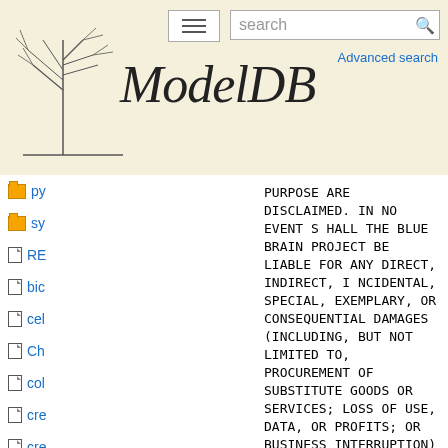[Figure (screenshot): ModelDB website header with logo (tree/neuron diagram), site title 'ModelDB' in italic serif font, search box, menu button, and Advanced search link]
py
sy
RE
bic
cel
Ch
col
cre
cre
cu
ini (highlighted)
LIC
mc
mc
rin
PURPOSE ARE DISCLAIMED. IN NO EVENT S
HALL THE BLUE BRAIN PROJECT
BE LIABLE FOR ANY DIRECT, INDIRECT, I
NCIDENTAL, SPECIAL, EXEMPLARY, OR
CONSEQUENTIAL DAMAGES (INCLUDING, BUT
NOT LIMITED TO, PROCUREMENT OF
SUBSTITUTE GOODS OR SERVICES; LOSS OF
USE, DATA, OR PROFITS; OR
BUSINESS INTERRUPTION) HOWEVER CAUSED
AND ON ANY THEORY OF LIABILITY,
WHETHER IN CONTRACT, STRICT LIABILIT
Y, OR TORT (INCLUDING NEGLIGENCE
OR OTHERWISE) ARISING IN ANY WAY OUT
OF THE USE OF THIS SOFTWARE, EVEN
IF ADVISED OF THE POSSIBILITY OF SUCH
DAMAGE.

This work is licensed under a
Creative Commons Attribution-NonComme
rcial-ShareAlike 4.0 International li